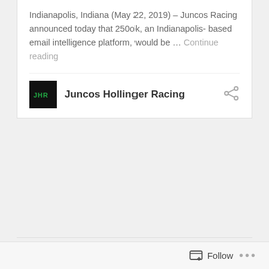Indianapolis, Indiana (May 22, 2019) – Juncos Racing announced today that 250ok, an Indianapolis- based email intelligence platform, would be … Continue reading
[Figure (logo): Juncos Hollinger Racing logo — black square with green JHR text]
Juncos Hollinger Racing
Posted in Auto Racing
Tagged 103rd Running of the Indianapolis 500, Indianapolis Motor Speedway, Juncos Racing, Kyle Kaiser, NBC, Ricardo Juncos
Follow ...